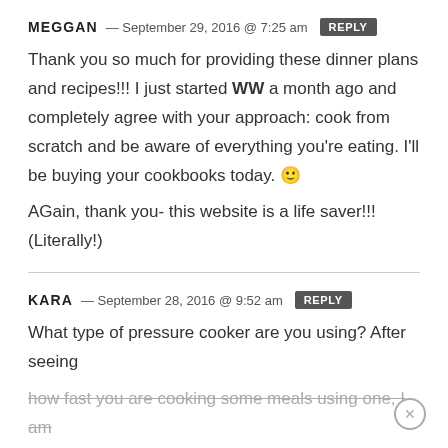MEGGAN — September 29, 2016 @ 7:25 am REPLY
Thank you so much for providing these dinner plans and recipes!!! I just started WW a month ago and completely agree with your approach: cook from scratch and be aware of everything you're eating. I'll be buying your cookbooks today. 🙂
AGain, thank you- this website is a life saver!!! (Literally!)
KARA — September 28, 2016 @ 9:52 am REPLY
What type of pressure cooker are you using? After seeing how fast you are cooking some meals using one, I am looking into investing in one. Thanks!